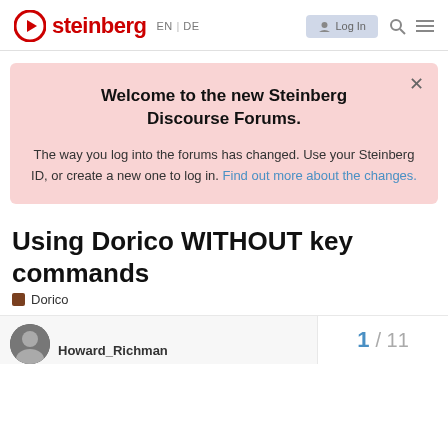steinberg EN | DE Log In
Welcome to the new Steinberg Discourse Forums.
The way you log into the forums has changed. Use your Steinberg ID, or create a new one to log in. Find out more about the changes.
Using Dorico WITHOUT key commands
Dorico
Howard_Richman
1 / 11